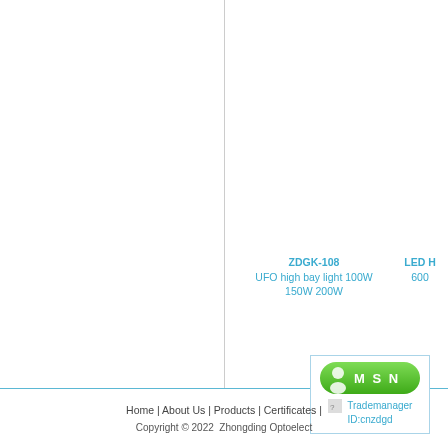ZDGK-108
UFO high bay light 100W 150W 200W
LED H 600
[Figure (screenshot): MSN contact button and Trademanager ID:cnzdgd widget inside a bordered box]
ZDGK-UFOK
UFO LED High Bay Lights 100W 150W 200W
UFO L 100
Home | About Us | Products | Certificates |
Copyright © 2022  Zhongding Optoelect